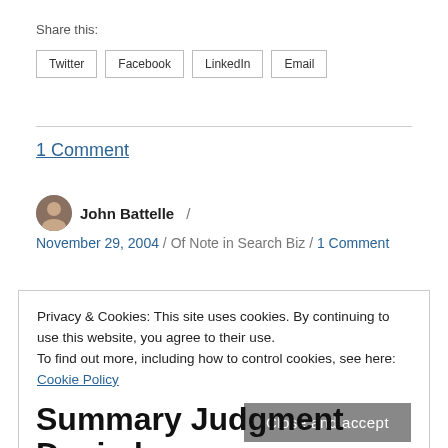Share this:
Twitter
Facebook
LinkedIn
Email
1 Comment
John Battelle /
November 29, 2004 / Of Note in Search Biz / 1 Comment
Privacy & Cookies: This site uses cookies. By continuing to use this website, you agree to their use.
To find out more, including how to control cookies, see here: Cookie Policy
Close and accept
Summary Judgment Denied